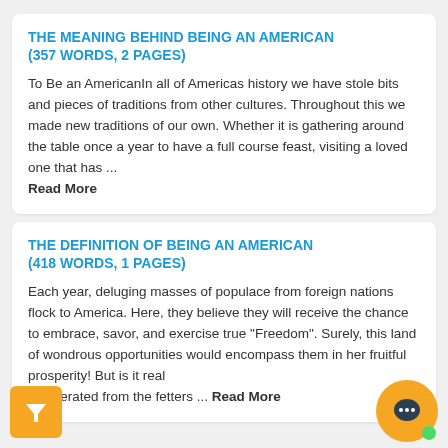THE MEANING BEHIND BEING AN AMERICAN (357 WORDS, 2 PAGES)
To Be an AmericanIn all of Americas history we have stole bits and pieces of traditions from other cultures. Throughout this we made new traditions of our own. Whether it is gathering around the table once a year to have a full course feast, visiting a loved one that has ... Read More
THE DEFINITION OF BEING AN AMERICAN (418 WORDS, 1 PAGES)
Each year, deluging masses of populace from foreign nations flock to America. Here, they believe they will receive the chance to embrace, savor, and exercise true "Freedom". Surely, this land of wondrous opportunities would encompass them in her fruitful prosperity! But is it real and liberated from the fetters ... Read More